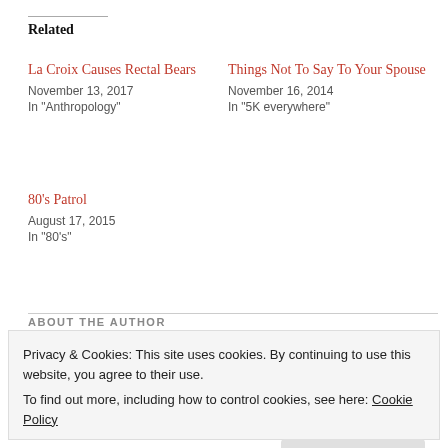Related
La Croix Causes Rectal Bears
November 13, 2017
In "Anthropology"
Things Not To Say To Your Spouse
November 16, 2014
In "5K everywhere"
80's Patrol
August 17, 2015
In "80's"
ABOUT THE AUTHOR
Privacy & Cookies: This site uses cookies. By continuing to use this website, you agree to their use.
To find out more, including how to control cookies, see here: Cookie Policy
Close and accept